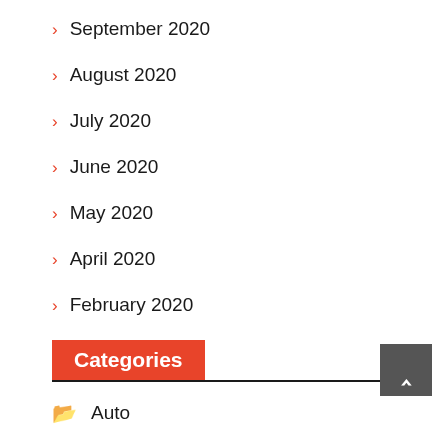September 2020
August 2020
July 2020
June 2020
May 2020
April 2020
February 2020
Categories
Auto
Business
Casino
Education